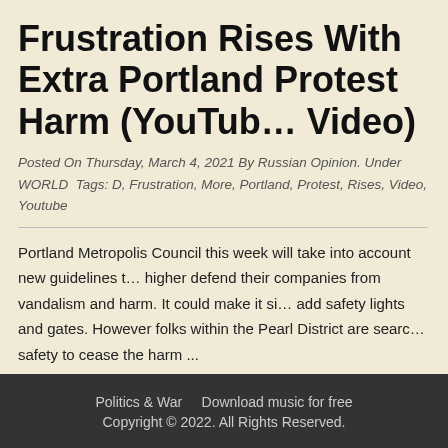Frustration Rises With Extra Portland Protest Harm (YouTube Video)
Posted On Thursday, March 4, 2021 By Russian Opinion. Under WORLD  Tags: D, Frustration, More, Portland, Protest, Rises, Video, Youtube
Portland Metropolis Council this week will take into account new guidelines t... higher defend their companies from vandalism and harm. It could make it si... add safety lights and gates. However folks within the Pearl District are searc... safety to cease the harm ...
Politics & War    Download music for free    Copyright © 2022. All Rights Reserved.